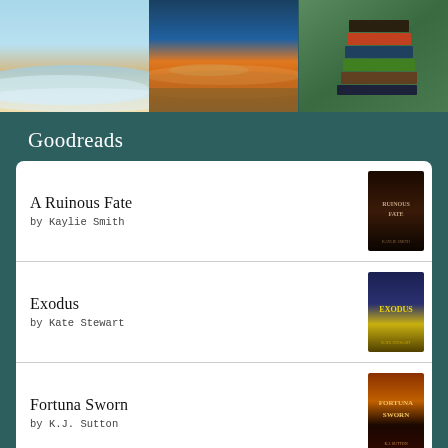[Figure (photo): Three photos at top: beach with waves, beach at sunset with reflections, stack of books on chair outdoors]
Goodreads
A Ruinous Fate by Kaylie Smith
Exodus by Kate Stewart
Fortuna Sworn by K.J. Sutton
The Kingless Crown by Sarah M. Cradit